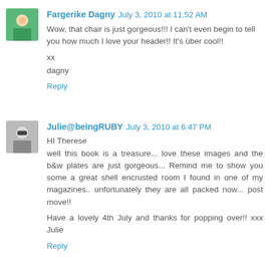[Figure (photo): Avatar of Fargerike Dagny - woman in green top]
Fargerike Dagny July 3, 2010 at 11:52 AM
Wow, that chair is just gorgeous!!! I can't even begin to tell you how much I love your header!! It's über cool!!
xx
dagny
Reply
[Figure (photo): Avatar of Julie@beingRUBY - person with sunglasses in black and white]
Julie@beingRUBY July 3, 2010 at 6:47 PM
HI Therese
well this book is a treasure... love these images and the b&w plates are just gorgeous... Remind me to show you some a great shell encrusted room I found in one of my magazines.. unfortunately they are all packed now... post move!!
Have a lovely 4th July and thanks for popping over!! xxx Julie
Reply